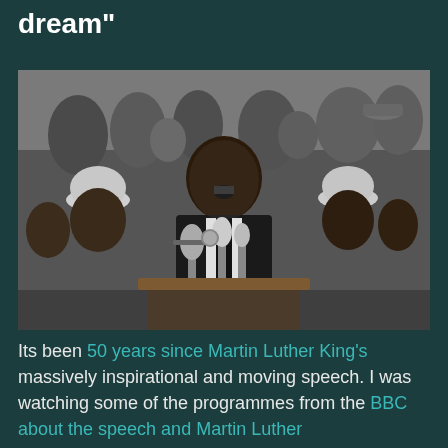dream"
[Figure (photo): Black and white photograph of Martin Luther King Jr. speaking at a podium with multiple microphones, surrounded by a large crowd. He is wearing a suit and tie with a campaign button. Several other men are visible around him, some wearing white caps.]
Its been 50 years since Martin Luther King's massively inspirational and moving speech. I was watching some of the programmes from the BBC about the speech and Martin Luther